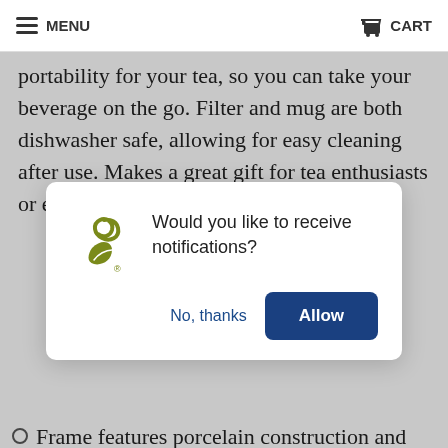MENU  CART
portability for your tea, so you can take your beverage on the go. Filter and mug are both dishwasher safe, allowing for easy cleaning after use. Makes a great gift for tea enthusiasts or even a house
[Figure (screenshot): Browser push notification popup with a tea brand logo asking 'Would you like to receive notifications?' with 'No, thanks' and 'Allow' buttons]
Frame features porcelain construction and filter is made out of stainless steel, which adds a modern and sleek element
Filter provides the ability to conveniently make loose leaf tea right in your mug